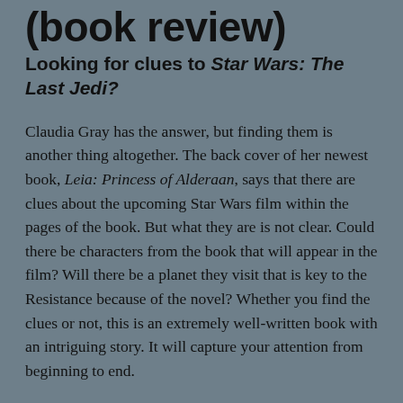(book review)
Looking for clues to Star Wars: The Last Jedi?
Claudia Gray has the answer, but finding them is another thing altogether. The back cover of her newest book, Leia: Princess of Alderaan, says that there are clues about the upcoming Star Wars film within the pages of the book. But what they are is not clear. Could there be characters from the book that will appear in the film? Will there be a planet they visit that is key to the Resistance because of the novel? Whether you find the clues or not, this is an extremely well-written book with an intriguing story. It will capture your attention from beginning to end.